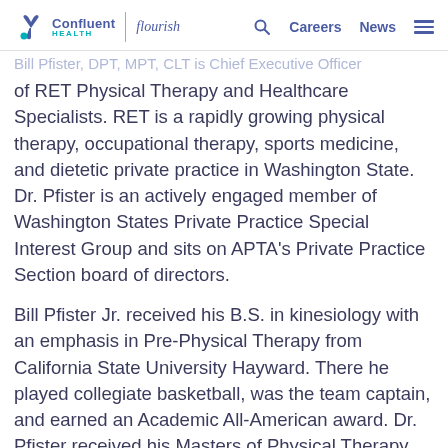Confluent Health | flourish   [search] Careers   News   [menu]
Bill Pfister, DPT, MPT, CLT is Chief Executive Officer of RET Physical Therapy and Healthcare Specialists. RET is a rapidly growing physical therapy, occupational therapy, sports medicine, and dietetic private practice in Washington State. Dr. Pfister is an actively engaged member of Washington States Private Practice Special Interest Group and sits on APTA's Private Practice Section board of directors.
Bill Pfister Jr. received his B.S. in kinesiology with an emphasis in Pre-Physical Therapy from California State University Hayward. There he played collegiate basketball, was the team captain, and earned an Academic All-American award. Dr. Pfister received his Masters of Physical Therapy degree from Rutgers University and The University of Medicine and